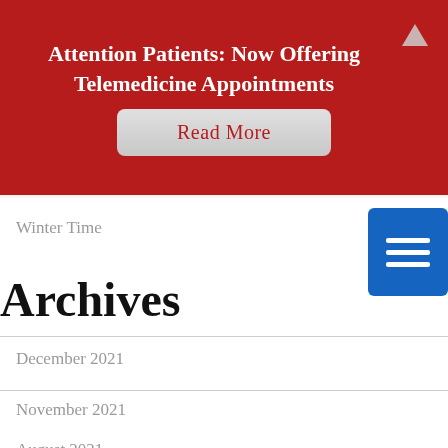Attention Patients: Now Offering Telemedicine Appointments
Read More
Winter Time
Archives
December 2021
November 2021
August 2021